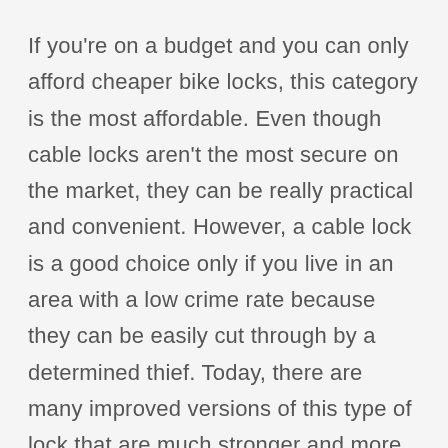If you're on a budget and you can only afford cheaper bike locks, this category is the most affordable. Even though cable locks aren't the most secure on the market, they can be really practical and convenient. However, a cable lock is a good choice only if you live in an area with a low crime rate because they can be easily cut through by a determined thief. Today, there are many improved versions of this type of lock that are much stronger and more difficult to cut. They can be reinforced with stronger wires or steel for added security.